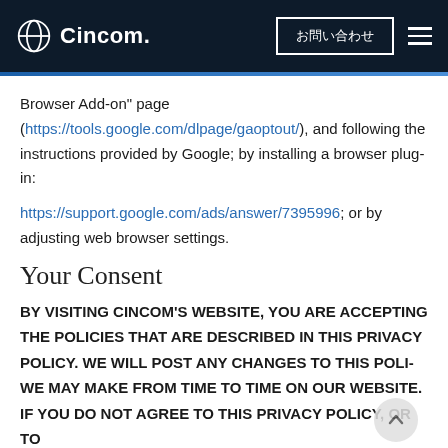Cincom — お問い合わせ
Browser Add-on” page (https://tools.google.com/dlpage/gaoptout/), and following the instructions provided by Google; by installing a browser plug-in: https://support.google.com/ads/answer/7395996; or by adjusting web browser settings.
Your Consent
BY VISITING CINCOM’S WEBSITE, YOU ARE ACCEPTING THE POLICIES THAT ARE DESCRIBED IN THIS PRIVACY POLICY. WE WILL POST ANY CHANGES TO THIS POLICY WE MAY MAKE FROM TIME TO TIME ON OUR WEBSITE. IF YOU DO NOT AGREE TO THIS PRIVACY POLICY, OR TO